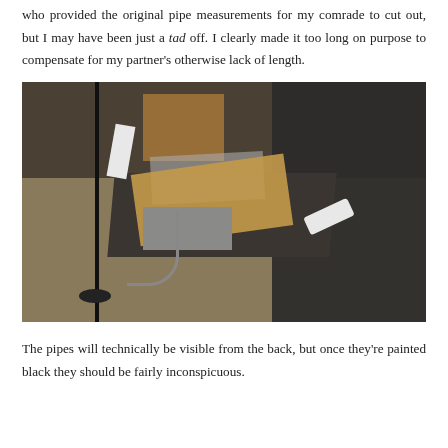who provided the original pipe measurements for my comrade to cut out, but I may have been just a tad off. I clearly made it too long on purpose to compensate for my partner's otherwise lack of length.
[Figure (photo): Workshop scene showing a folding chair with cardboard, metal pieces, duct tape, white PVC pipes, a black floor lamp, and a flexible gooseneck lamp on a concrete floor.]
The pipes will technically be visible from the back, but once they're painted black they should be fairly inconspicuous.